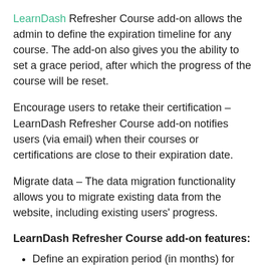LearnDash Refresher Course add-on allows the admin to define the expiration timeline for any course. The add-on also gives you the ability to set a grace period, after which the progress of the course will be reset.
Encourage users to retake their certification – LearnDash Refresher Course add-on notifies users (via email) when their courses or certifications are close to their expiration date.
Migrate data – The data migration functionality allows you to migrate existing data from the website, including existing users' progress.
LearnDash Refresher Course add-on features:
Define an expiration period (in months) for courses and certification.
Define a grace period (in months) for courses and certification.